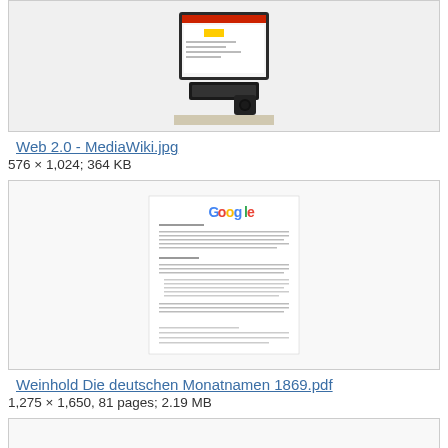[Figure (photo): Thumbnail of a computer/laptop with keyboard and camera on desk, showing web 2.0 related content on screen]
Web 2.0 - MediaWiki.jpg
576 × 1,024; 364 KB
[Figure (screenshot): Thumbnail of a PDF document page showing Google logo and text content (Weinhold Die deutschen Monatnamen 1869)]
Weinhold Die deutschen Monatnamen 1869.pdf
1,275 × 1,650, 81 pages; 2.19 MB
[Figure (photo): Partial thumbnail of another image, content not visible]